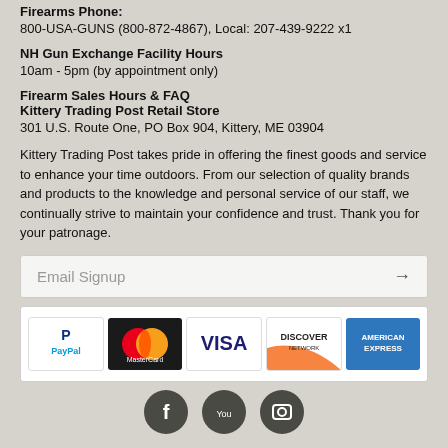Firearms Phone:
800-USA-GUNS (800-872-4867), Local: 207-439-9222 x1
NH Gun Exchange Facility Hours
10am - 5pm (by appointment only)
Firearm Sales Hours & FAQ
Kittery Trading Post Retail Store
301 U.S. Route One, PO Box 904, Kittery, ME 03904
Kittery Trading Post takes pride in offering the finest goods and service to enhance your time outdoors. From our selection of quality brands and products to the knowledge and personal service of our staff, we continually strive to maintain your confidence and trust. Thank you for your patronage.
Email Signup →
[Figure (logo): Payment method logos: PayPal, MasterCard, Visa, Discover Network, American Express]
[Figure (logo): Social media icons: Facebook, YouTube, and another icon]